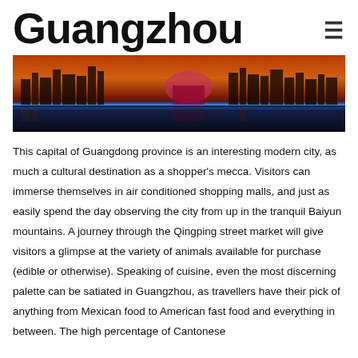Guangzhou
[Figure (photo): Panoramic nighttime skyline of Guangzhou city reflected over water, with orange-red sky and blue lit bridge/waterfront]
This capital of Guangdong province is an interesting modern city, as much a cultural destination as a shopper's mecca. Visitors can immerse themselves in air conditioned shopping malls, and just as easily spend the day observing the city from up in the tranquil Baiyun mountains. A journey through the Qingping street market will give visitors a glimpse at the variety of animals available for purchase (edible or otherwise). Speaking of cuisine, even the most discerning palette can be satiated in Guangzhou, as travellers have their pick of anything from Mexican food to American fast food and everything in between. The high percentage of Cantonese